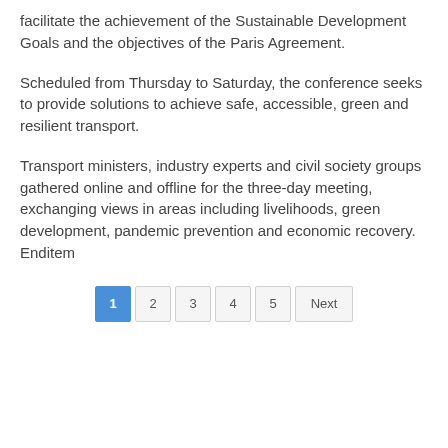facilitate the achievement of the Sustainable Development Goals and the objectives of the Paris Agreement.
Scheduled from Thursday to Saturday, the conference seeks to provide solutions to achieve safe, accessible, green and resilient transport.
Transport ministers, industry experts and civil society groups gathered online and offline for the three-day meeting, exchanging views in areas including livelihoods, green development, pandemic prevention and economic recovery. Enditem